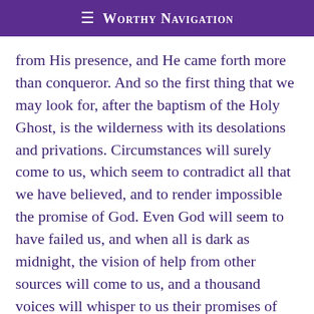≡ Worthy Navigation
from His presence, and He came forth more than conqueror. And so the first thing that we may look for, after the baptism of the Holy Ghost, is the wilderness with its desolations and privations. Circumstances will surely come to us, which seem to contradict all that we have believed, and to render impossible the promise of God. Even God will seem to have failed us, and when all is dark as midnight, the vision of help from other sources will come to us, and a thousand voices will whisper to us their promises of sympathy and aid, if we but yield a single point of conscience and give ourselves up to the will of the deceiver. All the temptations of our Master will come to us, the lust of the flesh, the lust of the eye, the pride of life, the temptation to take help from